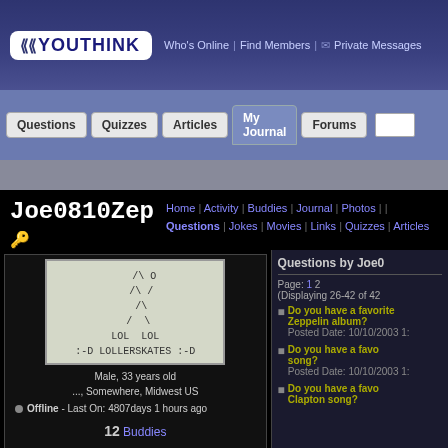YouThink | Who's Online | Find Members | Private Messages
[Figure (screenshot): YouThink website navigation with logo and menu tabs: Questions, Quizzes, Articles, My Journal, Forums]
Joe0810Zep
Home | Activity | Buddies | Journal | Photos | Questions | Jokes | Movies | Links | Quizzes | Articles
[Figure (illustration): ASCII art stick figure with LOL LOL :-D LOLLERSKATES :-D text]
Male, 33 years old
..., Somewhere, Midwest US
Offline - Last On: 4807days 1 hours ago
12 Buddies
11 Subscribers
Questions by Joe0
Page: 1 2
(Displaying 26-42 of 42
Do you have a favorite Zeppelin album?
Posted Date: 10/10/2003 1:
Do you have a favorite song?
Posted Date: 10/10/2003 1:
Do you have a favorite Clapton song?